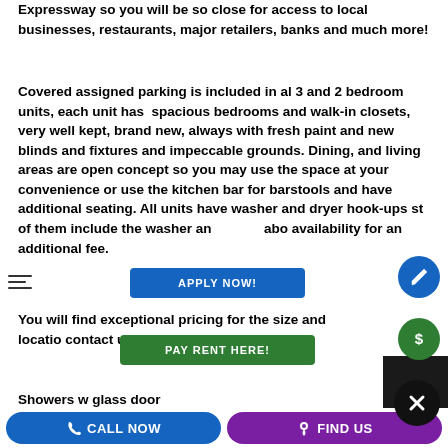Expressway so you will be so close for access to local businesses, restaurants, major retailers, banks and much more!
Covered assigned parking is included in al 3 and 2 bedroom units, each unit has  spacious bedrooms and walk-in closets, very well kept, brand new, always with fresh paint and new blinds and fixtures and impeccable grounds. Dining, and living areas are open concept so you may use the space at your convenience or use the kitchen bar for barstools and have additional seating. All units have washer and dryer hook-ups st of them include the washer an abo availability for an additional fee.
You will find exceptional pricing for the size and location contact us today!
Showers w glass door
CALL NOW   FIND US